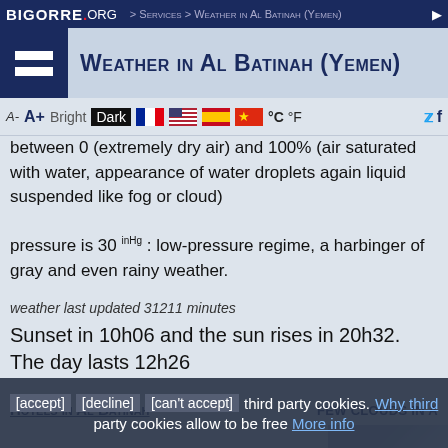BIGORRE.ORG > Services > Weather in Al Batinah (Yemen)
Weather in Al Batinah (Yemen)
between 0 (extremely dry air) and 100% (air saturated with water, appearance of water droplets again liquid suspended like fog or cloud)
pressure is 30 inHg : low-pressure regime, a harbinger of gray and even rainy weather.
weather last updated 31211 minutes
Sunset in 10h06 and the sun rises in 20h32. The day lasts 12h26
Hotels in Al Batinah
FEW CLOUDS IN A
[accept] [decline] [can't accept] third party cookies. Why third party cookies allow to be free More info